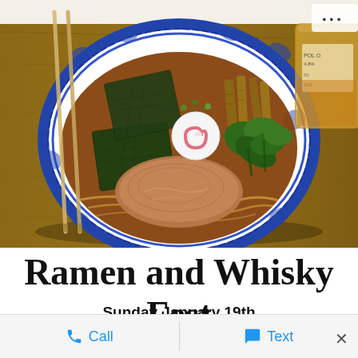[Figure (photo): A blue and white decorative bowl filled with ramen soup, topped with nori seaweed sheets, chashu pork, narutomaki fish cake, green onions, bamboo shoots, and broth. Chopsticks rest on the left side. A glass of amber whisky is partially visible in the upper right corner. The bowl sits on a wooden surface.]
Ramen and Whisky Fest
Sunday January 19th
Call   Text